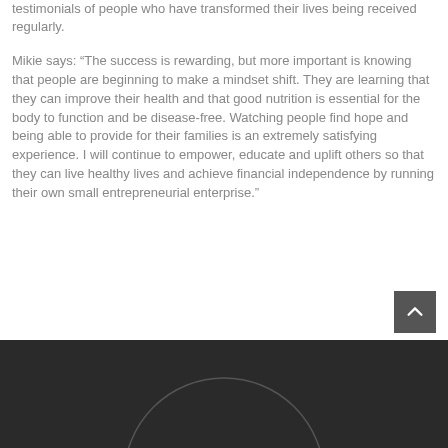testimonials of people who have transformed their lives being received regularly.
Mikie says: “The success is rewarding, but more important is knowing that people are beginning to make a mindset shift. They are learning that they can improve their health and that good nutrition is essential for the body to function and be disease-free. Watching people find hope and being able to provide for their families is an extremely satisfying experience. I will continue to empower, educate and uplift others so that they can live healthy lives and achieve financial independence by running their own small entrepreneurial enterprise.”
[Figure (other): Dark background image with a semi-circular graphic (circle outline) partially visible at the bottom of the page]